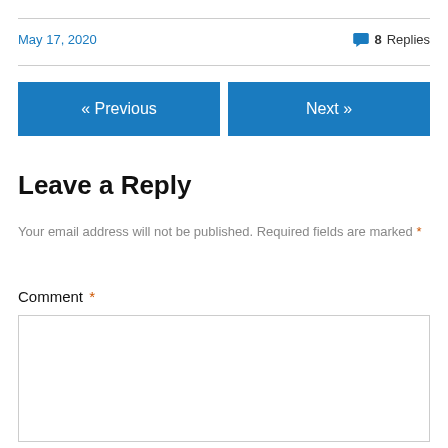May 17, 2020
8 Replies
« Previous
Next »
Leave a Reply
Your email address will not be published. Required fields are marked *
Comment *